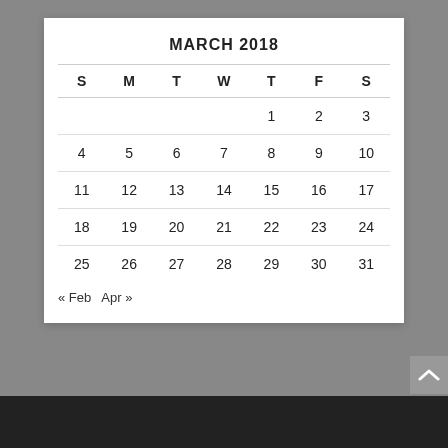MARCH 2018
| S | M | T | W | T | F | S |
| --- | --- | --- | --- | --- | --- | --- |
|  |  |  |  | 1 | 2 | 3 |
| 4 | 5 | 6 | 7 | 8 | 9 | 10 |
| 11 | 12 | 13 | 14 | 15 | 16 | 17 |
| 18 | 19 | 20 | 21 | 22 | 23 | 24 |
| 25 | 26 | 27 | 28 | 29 | 30 | 31 |
« Feb   Apr »